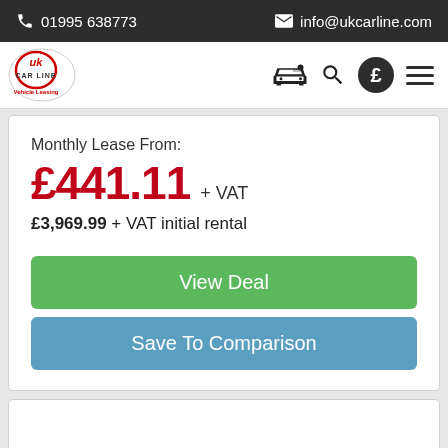01995 638773  info@ukcarline.com
[Figure (logo): UK Car Line Vehicle Leasing logo with navigation icons (car, search, pound, hamburger menu)]
Monthly Lease From:
£441.11 + VAT
£3,969.99 + VAT initial rental
View Deal
Save To Comparison